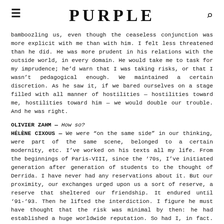PURPLE
bamboozling us, even though the ceaseless conjunction was more explicit with me than with him. I felt less threatened than he did. He was more prudent in his relations with the outside world, in every domain. He would take me to task for my imprudence; he’d warn that I was taking risks, or that I wasn’t pedagogical enough. We maintained a certain discretion. As he saw it, if we bared ourselves on a stage filled with all manner of hostilities — hostilities toward me, hostilities toward him — we would double our trouble. And he was right.
OLIVIER ZAHM — How so?
HÉLÈNE CIXOUS — We were “on the same side” in our thinking, were part of the same scene, belonged to a certain modernity, etc. I’ve worked on his texts all my life. From the beginnings of Paris-VIII, since the ‘70s, I’ve initiated generation after generation of students to the thought of Derrida. I have never had any reservations about it. But our proximity, our exchanges urged upon us a sort of reserve, a reserve that sheltered our friendship. It endured until ‘91-’93. Then he lifted the interdiction. I figure he must have thought that the risk was minimal by then: he had established a huge worldwide reputation. So had I, in fact. He figured that we ought now to appear together. It was he who lifted the veil; it was his decision. He’d wanted to do it explicitly. He started writing books about me, laying down the legend, asserting